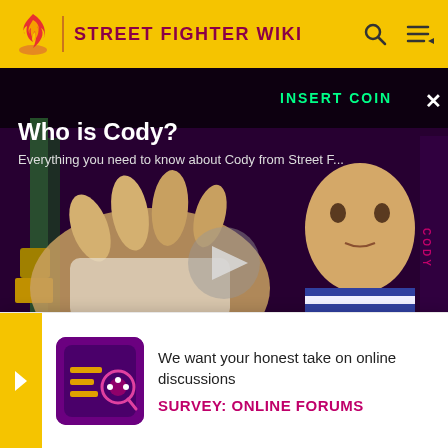STREET FIGHTER WIKI
[Figure (screenshot): Video thumbnail showing Street Fighter character Cody with title 'Who is Cody?' and subtitle 'Everything you need to know about Cody from Street F...' with play button overlay and NaN:NaN time display]
Guy
Cody and Guy were originally very good friends. When Guy. They coupl
[Figure (infographic): Survey notification popup with yellow arrow, purple/pink icon image, text 'We want your honest take on online discussions' and CTA 'SURVEY: ONLINE FORUMS']